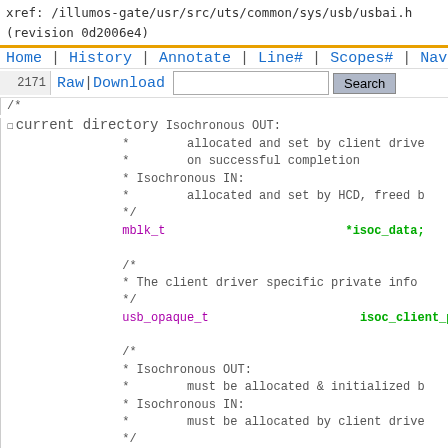xref: /illumos-gate/usr/src/uts/common/sys/usb/usbai.h
(revision 0d2006e4)
Home | History | Annotate | Line# | Scopes# | Navigate#
2171 Raw | Download  [search box] Search
2272 /*
2273 current directory  Isochronous OUT:
2274  *       allocated and set by client drive
2275  *       on successful completion
2276  * Isochronous IN:
2277  *       allocated and set by HCD, freed b
2278  */
2279  mblk_t                   *isoc_data;
2280
2281  /*
2282  * The client driver specific private info
2283  */
2284  usb_opaque_t             isoc_client_privat
2285
2286  /*
2287  * Isochronous OUT:
2288  *       must be allocated & initialized b
2289  * Isochronous IN:
2290  *       must be allocated by client drive
2291  */
2292  struct usb_isoc_pkt_descr *isoc_pkt_descr
2293
2294  /* Normal callback function (For synch tr
2295  void                      (*isoc_cb)(usb_pi